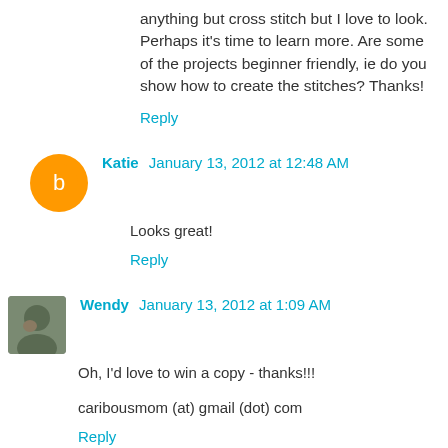anything but cross stitch but I love to look. Perhaps it's time to learn more. Are some of the projects beginner friendly, ie do you show how to create the stitches? Thanks!
Reply
Katie  January 13, 2012 at 12:48 AM
Looks great!
Reply
Wendy  January 13, 2012 at 1:09 AM
Oh, I'd love to win a copy - thanks!!!
caribousmom (at) gmail (dot) com
Reply
Anonymous  January 13, 2012 at 1:46 AM
It looks fabulous!